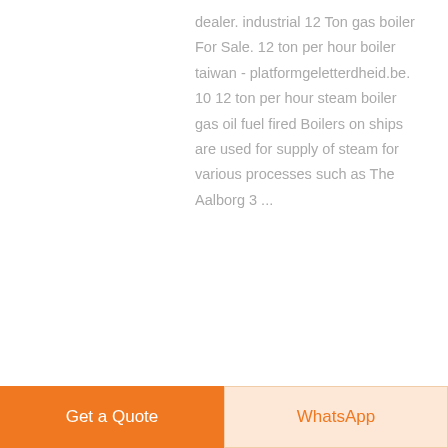dealer. industrial 12 Ton gas boiler For Sale. 12 ton per hour boiler taiwan - platformgeletterdheid.be. 10 12 ton per hour steam boiler gas oil fuel fired Boilers on ships are used for supply of steam for various processes such as The Aalborg 3 ...
learn More
[Figure (photo): Industrial boiler equipment photo showing cylindrical tanks/vessels in an industrial setting with orange-brown coloring]
10t Natural Gas Boiler
Get a Quote
WhatsApp